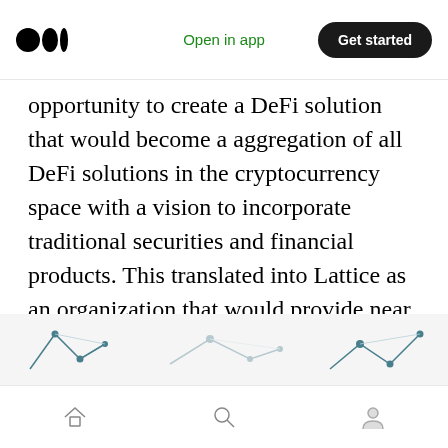Open in app | Get started
opportunity to create a DeFi solution that would become a aggregation of all DeFi solutions in the cryptocurrency space with a vision to incorporate traditional securities and financial products. This translated into Lattice as an organization that would provide near zero transaction fees, faster reconciliation of trades, cross-chain compatibility, and more complex trade algorithms and mirror the strengths and value proposition of Constellation's Network.
[Figure (illustration): Partial view of network graph illustrations showing nodes and connecting lines, styled in dark teal on light background]
Home | Search | Profile navigation icons